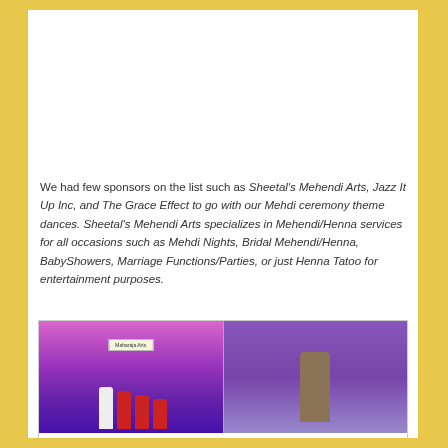We had few sponsors on the list such as Sheetal's Mehendi Arts, Jazz It Up Inc, and The Grace Effect to go with our Mehdi ceremony theme dances. Sheetal's Mehendi Arts specializes in Mehendi/Henna services for all occasions such as Mehdi Nights, Bridal Mehendi/Henna, BabyShowers, Marriage Functions/Parties, or just Henna Tatoo for entertainment purposes.
[Figure (photo): Two side-by-side photos of Indian dance performances on stage. Left photo shows four dancers in colorful outfits on a purple-lit stage. Right photo shows a solo dancer in a saree on a purple-lit stage. Below the photos is a caption bar reading 'Grace And Grooves'.]